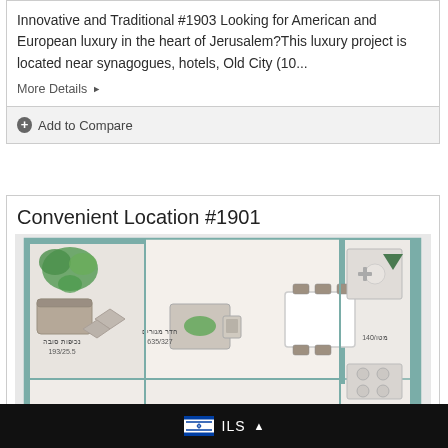Innovative and Traditional #1903 Looking for American and European luxury in the heart of Jerusalem?This luxury project is located near synagogues, hotels, Old City (10...
More Details ▶
+ Add to Compare
Convenient Location #1901
[Figure (illustration): Apartment floor plan showing living room/dining area, kitchen, and other rooms with furniture layout. Hebrew room labels: נכיפות סובה 193/25.5, חדר מגורים 635/327, מטו/140. A green triangle/arrow marker visible at top right.]
🇮🇱 ILS ▲